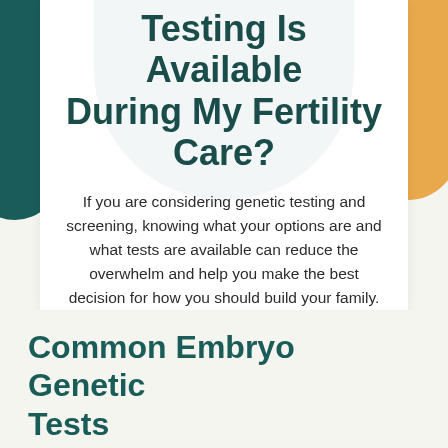Testing Is Available During My Fertility Care?
If you are considering genetic testing and screening, knowing what your options are and what tests are available can reduce the overwhelm and help you make the best decision for how you should build your family.
Common Embryo Genetic Tests
Contributed by the ASRM Genetic Counseling